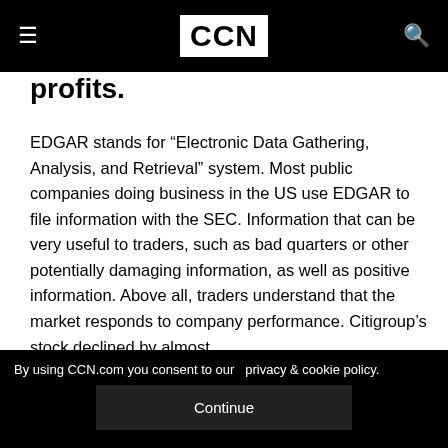CCN
profits.
EDGAR stands for “Electronic Data Gathering, Analysis, and Retrieval” system. Most public companies doing business in the US use EDGAR to file information with the SEC. Information that can be very useful to traders, such as bad quarters or other potentially damaging information, as well as positive information. Above all, traders understand that the market responds to company performance. Citigroup’s stock declined by almost
By using CCN.com you consent to our  privacy & cookie policy.
Continue